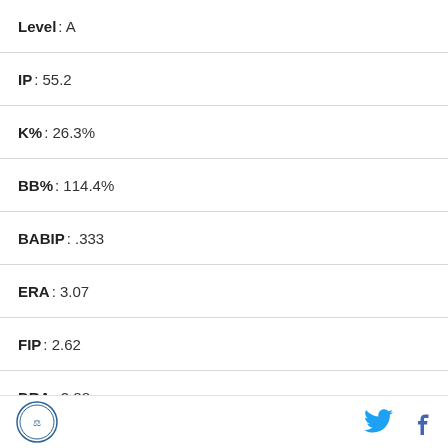Level : A
IP : 55.2
K% : 26.3%
BB% : 114.4%
BABIP : .333
ERA : 3.07
FIP : 2.62
DRA : 2.88
Year : 2016
Level : A+
IP : 48.2